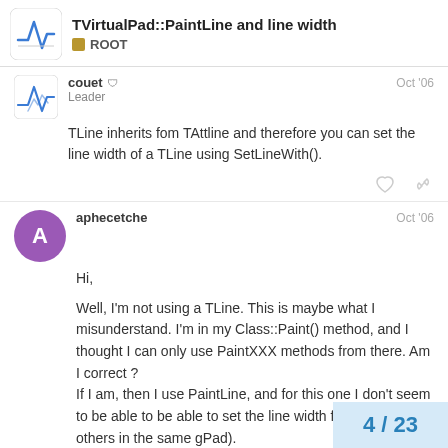TVirtualPad::PaintLine and line width — ROOT
couet — Leader — Oct '06
TLine inherits fom TAttline and therefore you can set the line width of a TLine using SetLineWith().
aphecetche — Oct '06
Hi,

Well, I'm not using a TLine. This is maybe what I misunderstand. I'm in my Class::Paint() method, and I thought I can only use PaintXXX methods from there. Am I correct ?
If I am, then I use PaintLine, and for this one I don't seem to be able to be able to set the line width for only others in the same gPad).
4 / 23